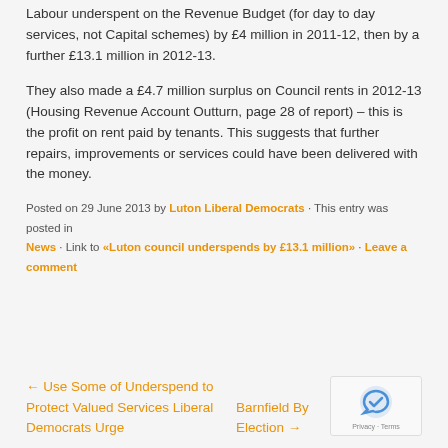Labour underspent on the Revenue Budget (for day to day services, not Capital schemes) by £4 million in 2011-12, then by a further £13.1 million in 2012-13.
They also made a £4.7 million surplus on Council rents in 2012-13 (Housing Revenue Account Outturn, page 28 of report) – this is the profit on rent paid by tenants. This suggests that further repairs, improvements or services could have been delivered with the money.
Posted on 29 June 2013 by Luton Liberal Democrats · This entry was posted in News · Link to «Luton council underspends by £13.1 million» · Leave a comment
← Use Some of Underspend to Protect Valued Services Liberal Democrats Urge
Barnfield By Election →